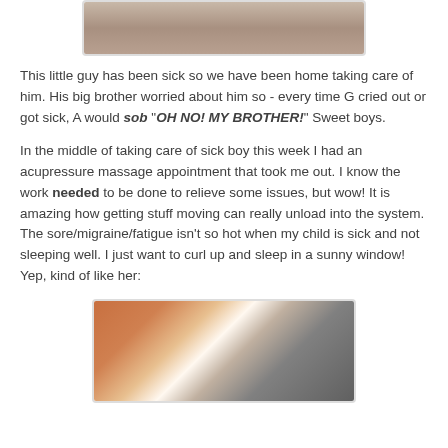[Figure (photo): Partial photo of a child/person, cropped at top]
This little guy has been sick so we have been home taking care of him. His big brother worried about him so - every time G cried out or got sick, A would sob "OH NO! MY BROTHER!" Sweet boys.
In the middle of taking care of sick boy this week I had an acupressure massage appointment that took me out. I know the work needed to be done to relieve some issues, but wow! It is amazing how getting stuff moving can really unload into the system. The sore/migraine/fatigue isn't so hot when my child is sick and not sleeping well. I just want to curl up and sleep in a sunny window! Yep, kind of like her:
[Figure (photo): Close-up photo of a calico cat sleeping or resting]